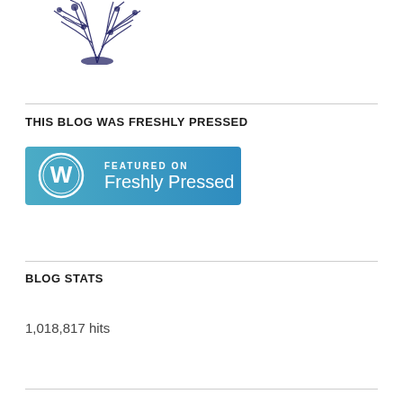[Figure (illustration): Dark blue/black abstract ink splatter or tree-like illustration at top of page]
THIS BLOG WAS FRESHLY PRESSED
[Figure (logo): WordPress 'Featured on Freshly Pressed' blue badge with WordPress logo circle on left and text 'FEATURED ON Freshly Pressed' on right]
BLOG STATS
1,018,817 hits